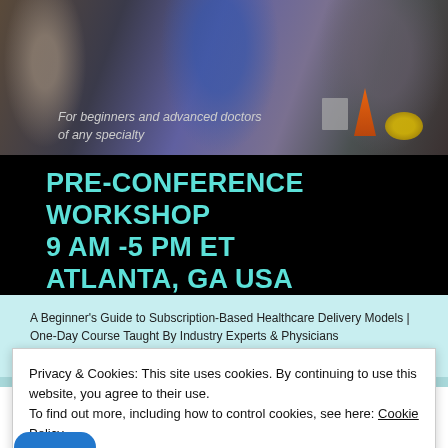[Figure (photo): Blurred photo of panelists seated on a stage with blue backdrop, orange traffic cone and props visible on the right side. Text overlay reads 'For beginners and advanced doctors of any specialty' and 'PRE-CONFERENCE WORKSHOP 9 AM -5 PM ET ATLANTA, GA USA']
For beginners and advanced doctors of any specialty
PRE-CONFERENCE WORKSHOP
9 AM -5 PM ET
ATLANTA, GA USA
A Beginner's Guide to Subscription-Based Healthcare Delivery Models | One-Day Course Taught By Industry Experts & Physicians
Privacy & Cookies: This site uses cookies. By continuing to use this website, you agree to their use.
To find out more, including how to control cookies, see here: Cookie Policy